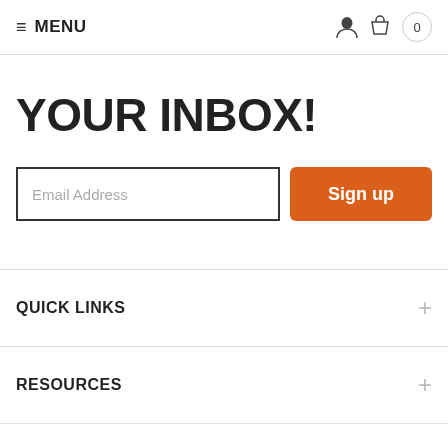≡ MENU
YOUR INBOX!
Email Address
Sign up
QUICK LINKS
RESOURCES
POLICIES